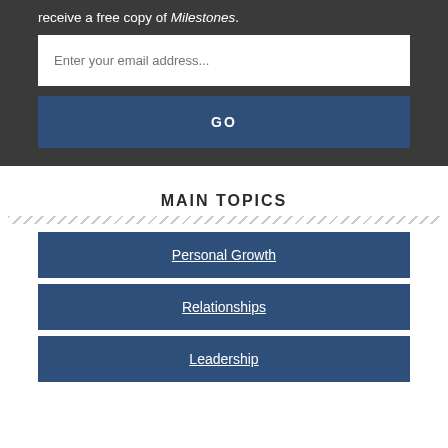receive a free copy of Milestones.
[Figure (other): Email input field with placeholder 'Enter your email address...']
[Figure (other): Blue GO button]
MAIN TOPICS
Personal Growth
Relationships
Leadership